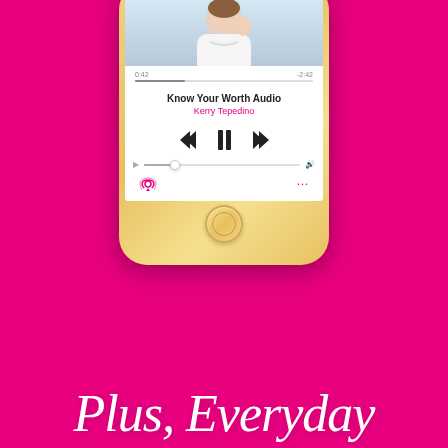[Figure (illustration): iPhone with gold casing displaying an audio player app screen showing 'Know Your Worth Audio' by Kerry Tepedino with playback controls, progress bar, and volume slider. Background is hot pink/magenta.]
Plus, Everyday